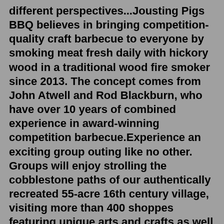different perspectives...Jousting Pigs BBQ believes in bringing competition-quality craft barbecue to everyone by smoking meat fresh daily with hickory wood in a traditional wood fire smoker since 2013. The concept comes from John Atwell and Rod Blackburn, who have over 10 years of combined experience in award-winning competition barbecue.Experience an exciting group outing like no other. Groups will enjoy strolling the cobblestone paths of our authentically recreated 55-acre 16th century village, visiting more than 400 shoppes featuring unique arts and crafts as well as sampling foods from many cultures, playing games of skill and participating in a variety of human-powered rides. The lack of high-level competition in the jousting world may be a problem for its international ambitions. A sport needs to "be practised widely across the world" to be welcomed into the Olympics ...Experience 700 years of history and award-winning gardens at the romantic double-moated 13th century House. Canthe overthe hillby abblance of A...